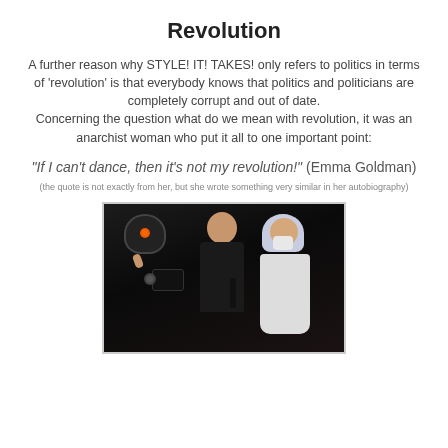Revolution
A further reason why STYLE! IT! TAKES! only refers to politics in terms of ‘revolution’ is that everybody knows that politics and politicians are completely corrupt and out of date.
Concerning the question what do we mean with revolution, it was an anarchist woman who put it all to one important point:
“If I can’t dance, then it’s not my revolution!” (Emma Goldman)
(the quote is not exactly from her, but she wrote something very similar in her autobiography)
[Figure (photo): Photograph of a man in a gas mask with a camera giving a thumbs up, a smiling groom in a suit, and a bride in hijab and white mask, taken at night, likely at a protest or demonstration.]